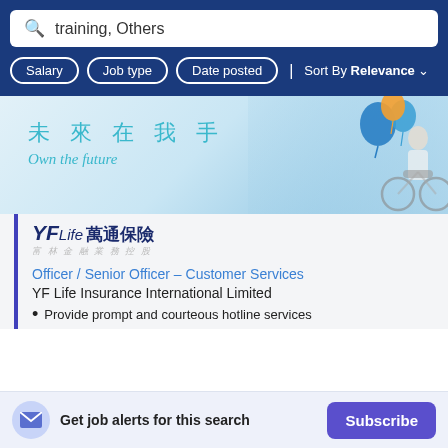training, Others
Salary | Job type | Date posted | Sort By Relevance
[Figure (photo): Banner image with light blue background showing a smiling woman on a bicycle with balloons, with Chinese text '未來在我手' and English text 'Own the future']
[Figure (logo): YFLife 萬通保險 company logo with Chinese subtitle]
Officer / Senior Officer – Customer Services
YF Life Insurance International Limited
Provide prompt and courteous hotline services
Get job alerts for this search